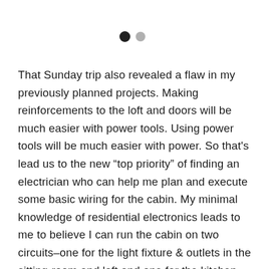[Figure (other): Two pagination dots: one black (filled) and one light gray, indicating page 1 of 2]
That Sunday trip also revealed a flaw in my previously planned projects. Making reinforcements to the loft and doors will be much easier with power tools. Using power tools will be much easier with power. So that's lead us to the new “top priority” of finding an electrician who can help me plan and execute some basic wiring for the cabin. My minimal knowledge of residential electronics leads to me to believe I can run the cabin on two circuits–one for the light fixture & outlets in the sitting-room and loft and one for the kitchen with an additional overhead light in the bathroom. That said, I have no idea what I’m doing in that regard, so hopefully